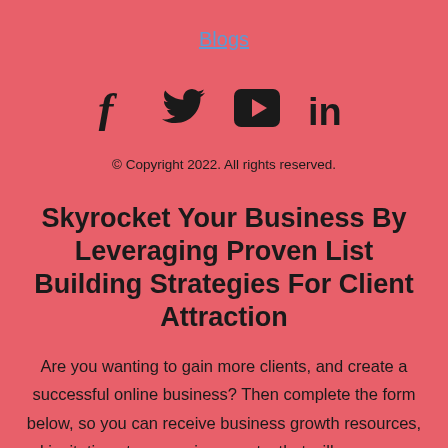Blogs
[Figure (infographic): Social media icons: Facebook, Twitter, YouTube, LinkedIn]
© Copyright 2022. All rights reserved.
Skyrocket Your Business By Leveraging Proven List Building Strategies For Client Attraction
Are you wanting to gain more clients, and create a successful online business? Then complete the form below, so you can receive business growth resources, and invitations to upcoming events, that will uncover new ways to